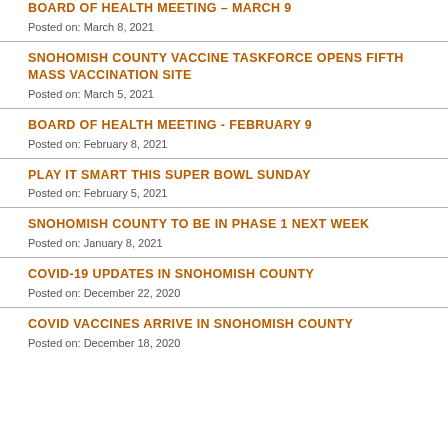BOARD OF HEALTH MEETING – MARCH 9
Posted on: March 8, 2021
SNOHOMISH COUNTY VACCINE TASKFORCE OPENS FIFTH MASS VACCINATION SITE
Posted on: March 5, 2021
BOARD OF HEALTH MEETING - FEBRUARY 9
Posted on: February 8, 2021
PLAY IT SMART THIS SUPER BOWL SUNDAY
Posted on: February 5, 2021
SNOHOMISH COUNTY TO BE IN PHASE 1 NEXT WEEK
Posted on: January 8, 2021
COVID-19 UPDATES IN SNOHOMISH COUNTY
Posted on: December 22, 2020
COVID VACCINES ARRIVE IN SNOHOMISH COUNTY
Posted on: December 18, 2020